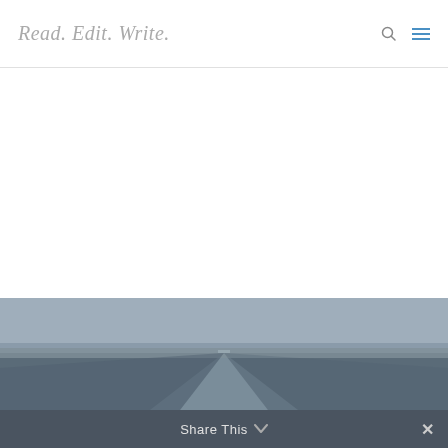Read. Edit. Write.
[Figure (photo): A road or highway scene viewed from above or ground level, with blue-grey sky and road surface fading into the distance. Partially visible at bottom of white content area.]
Share This ∨   ✕